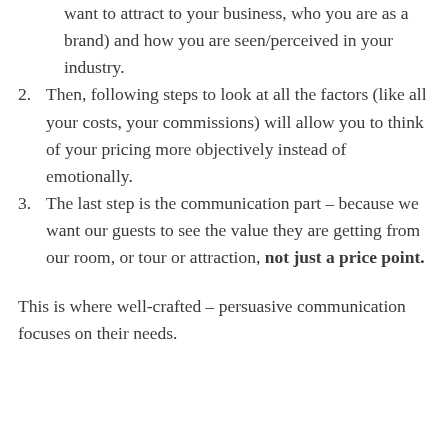want to attract to your business, who you are as a brand) and how you are seen/perceived in your industry.
2. Then, following steps to look at all the factors (like all your costs, your commissions) will allow you to think of your pricing more objectively instead of emotionally.
3. The last step is the communication part – because we want our guests to see the value they are getting from our room, or tour or attraction, not just a price point.
This is where well-crafted – persuasive communication focuses on their needs.